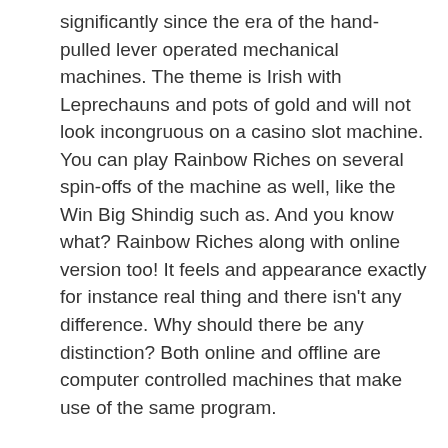significantly since the era of the hand-pulled lever operated mechanical machines. The theme is Irish with Leprechauns and pots of gold and will not look incongruous on a casino slot machine. You can play Rainbow Riches on several spin-offs of the machine as well, like the Win Big Shindig such as. And you know what? Rainbow Riches along with online version too! It feels and appearance exactly for instance real thing and there isn't any difference. Why should there be any distinction? Both online and offline are computer controlled machines that make use of the same program.
Playing free slots floor coverings way to obtain acquainted a problem game. Beginners are in contact with virtual pai gow poker wherein they